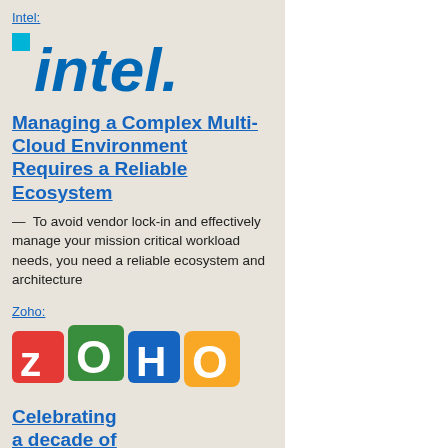Intel:
[Figure (logo): Intel logo in blue with small cyan square]
Managing a Complex Multi-Cloud Environment Requires a Reliable Ecosystem
— To avoid vendor lock-in and effectively manage your mission critical workload needs, you need a reliable ecosystem and architecture
Zoho:
[Figure (logo): Zoho logo with colorful block letters]
Celebrating a decade of